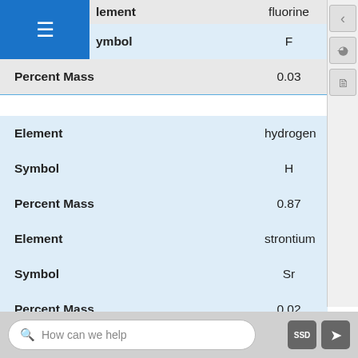|  |  |
| --- | --- |
| Element | fluorine |
| Symbol | F |
| Percent Mass | 0.03 |
| Element | hydrogen |
| Symbol | H |
| Percent Mass | 0.87 |
| Element | strontium |
| Symbol | Sr |
| Percent Mass | 0.02 |
| Element | titanium |
| Symbol | Ti |